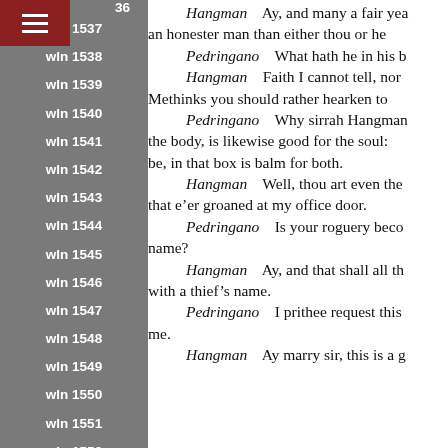wln 1537
wln 1538
wln 1539
wln 1540
wln 1541
wln 1542
wln 1543
wln 1544
wln 1545
wln 1546
wln 1547
wln 1548
wln 1549
wln 1550
wln 1551
wln 1552
Hangman    Ay, and many a fair yea... an honester man than either thou or he...
Pedringano    What hath he in his b...
Hangman    Faith I cannot tell, nor... Methinks you should rather hearken to...
Pedringano    Why sirrah Hangman... the body, is likewise good for the soul:... be, in that box is balm for both.
Hangman    Well, thou art even the... that e’er groaned at my office door.
Pedringano    Is your roguery beco... name?
Hangman    Ay, and that shall all th... with a thief’s name.
Pedringano    I prithee request this... me.
Hangman    Ay marry sir, this is a g...